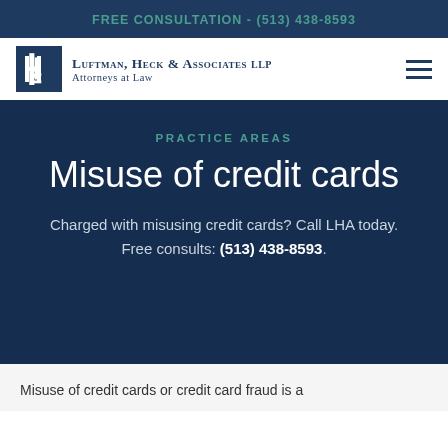FREE CONSULTATION - (513) 438-8593
[Figure (logo): Luftman, Heck & Associates LLP logo with stylized LH monogram icon]
PRACTICE AREAS
Misuse of credit cards
Charged with misusing credit cards? Call LHA today. Free consults: (513) 438-8593.
Misuse of credit cards or credit card fraud is a